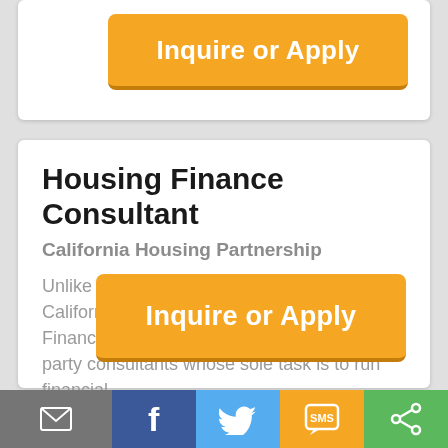[Figure (screenshot): Orange 'Inquire or Apply' button from a partially visible job listing card at top of page]
Housing Finance Consultant
California Housing Partnership
Unlike typical financial advisors, the California Housing Partnership's Housing Finance staff do not see themselves as third-party consultants whose sole task is to run financial ...
See More >>
[Figure (screenshot): Orange 'Inquire or Apply' button]
[Figure (infographic): Social sharing toolbar at bottom with email, Facebook, Twitter, SMS, and share icons]